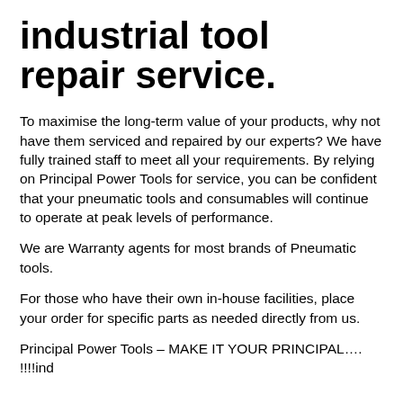industrial tool repair service.
To maximise the long-term value of your products, why not have them serviced and repaired by our experts? We have fully trained staff to meet all your requirements. By relying on Principal Power Tools for service, you can be confident that your pneumatic tools and consumables will continue to operate at peak levels of performance.
We are Warranty agents for most brands of Pneumatic tools.
For those who have their own in-house facilities, place your order for specific parts as needed directly from us.
Principal Power Tools – MAKE IT YOUR PRINCIPAL…. !!!!ind